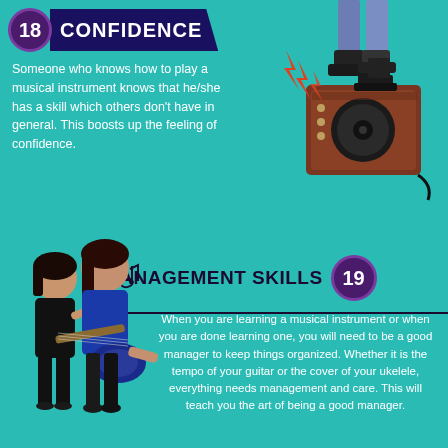18 CONFIDENCE
Someone who knows how to play a musical instrument knows that he/she has a skill which others don't have in general. This boosts up the feeling of confidence.
[Figure (illustration): Illustration of a guitar amplifier/speaker with lightning bolt decorations and boots on top]
MANAGEMENT SKILLS 19
[Figure (illustration): Illustration of two people playing guitar and singing, with one person in blue holding an electric guitar]
When you are learning a musical instrument or when you are done learning one, you will need to be a good manager to keep things organized. Whether it is the tempo of your guitar or the cover of your ukelele, everything needs management and care. This will teach you the art of being a good manager.